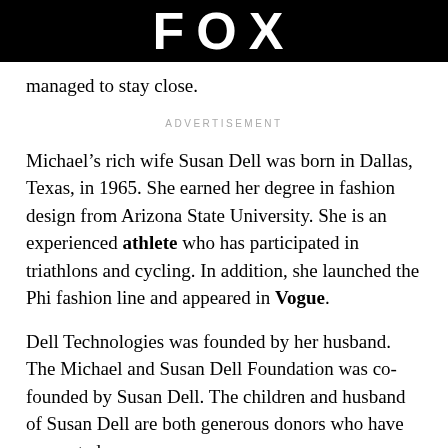FOX
managed to stay close.
ADVERTISEMENT
Michael’s rich wife Susan Dell was born in Dallas, Texas, in 1965. She earned her degree in fashion design from Arizona State University. She is an experienced athlete who has participated in triathlons and cycling. In addition, she launched the Phi fashion line and appeared in Vogue.
Dell Technologies was founded by her husband. The Michael and Susan Dell Foundation was co-founded by Susan Dell. The children and husband of Susan Dell are both generous donors who have supported numerous